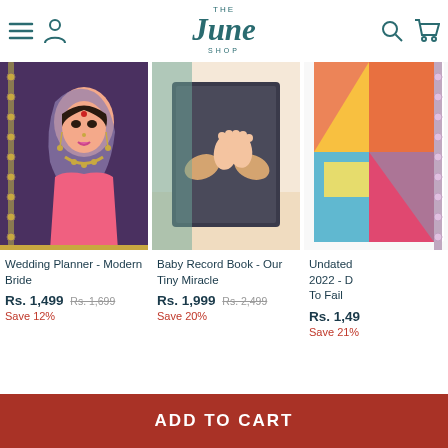The June Shop — navigation header with menu, user, search, and cart icons
[Figure (photo): Wedding Planner - Modern Bride notebook with illustration of Indian bride]
Wedding Planner - Modern Bride
Rs. 1,499  Rs. 1,699  Save 12%
[Figure (photo): Baby Record Book - Our Tiny Miracle with photo of adult hands holding baby feet]
Baby Record Book - Our Tiny Miracle
Rs. 1,999  Rs. 2,499  Save 20%
[Figure (photo): Undated 2022 planner with colorful cover, partially visible]
Undated 2022 - D To Fail
Rs. 1,49... Save 21%
ADD TO CART